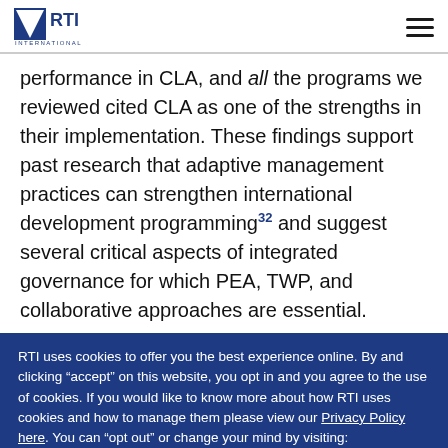RTI International logo and navigation menu
performance in CLA, and all the programs we reviewed cited CLA as one of the strengths in their implementation. These findings support past research that adaptive management practices can strengthen international development programming32 and suggest several critical aspects of integrated governance for which PEA, TWP, and collaborative approaches are essential.
RTI uses cookies to offer you the best experience online. By and clicking “accept” on this website, you opt in and you agree to the use of cookies. If you would like to know more about how RTI uses cookies and how to manage them please view our Privacy Policy here. You can “opt out” or change your mind by visiting: http://optout.aboutads.info/. Click “accept” to agree.
ACCEPT